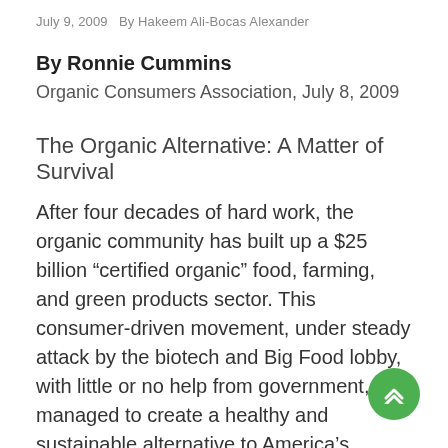July 9, 2009   By Hakeem Ali-Bocas Alexander
By Ronnie Cummins
Organic Consumers Association, July 8, 2009
The Organic Alternative: A Matter of Survival
After four decades of hard work, the organic community has built up a $25 billion “certified organic” food, farming, and green products sector. This consumer-driven movement, under steady attack by the biotech and Big Food lobby, with little or no help from government, has managed to create a healthy and sustainable alternative to America’s disastrous, chemical and energy-intensive system of industrial agriculture. Conscious of health hazards of Big Food Inc., and the mortal